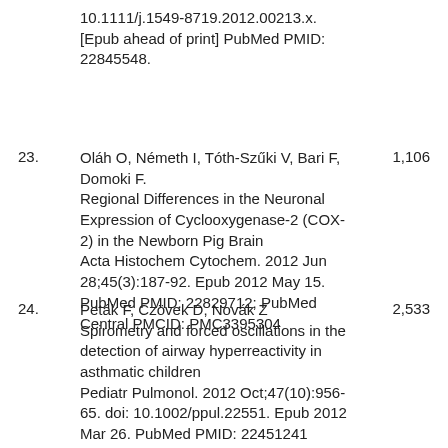10.1111/j.1549-8719.2012.00213.x. [Epub ahead of print] PubMed PMID: 22845548.
23. Oláh O, Németh I, Tóth-Szűki V, Bari F, Domoki F. Regional Differences in the Neuronal Expression of Cyclooxygenase-2 (COX-2) in the Newborn Pig Brain Acta Histochem Cytochem. 2012 Jun 28;45(3):187-92. Epub 2012 May 15. PubMed PMID: 22829712; PubMed Central PMCID: PMC3395304  1,106
24. Peták F, Czövek D, Novák Z Spirometry and forced oscillations in the detection of airway hyperreactivity in asthmatic children Pediatr Pulmonol. 2012 Oct;47(10):956-65. doi: 10.1002/ppul.22551. Epub 2012 Mar 26. PubMed PMID: 22451241  2,533